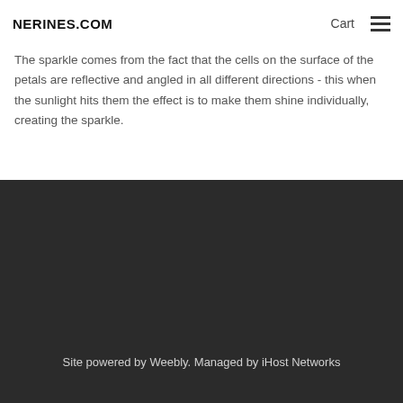NERINES.COM   Cart ☰
The sparkle comes from the fact that the cells on the surface of the petals are reflective and angled in all different directions - this when the sunlight hits them the effect is to make them shine individually, creating the sparkle.
Site powered by Weebly. Managed by iHost Networks